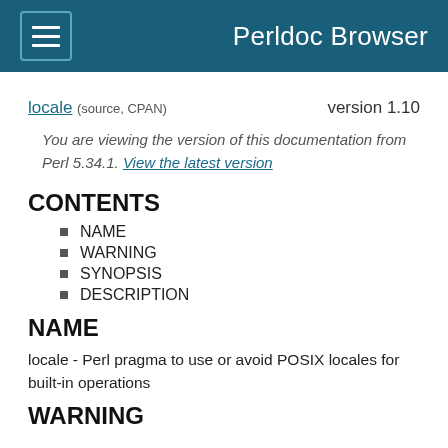Perldoc Browser
locale (source, CPAN)   version 1.10
You are viewing the version of this documentation from Perl 5.34.1. View the latest version
CONTENTS
NAME
WARNING
SYNOPSIS
DESCRIPTION
NAME
locale - Perl pragma to use or avoid POSIX locales for built-in operations
WARNING